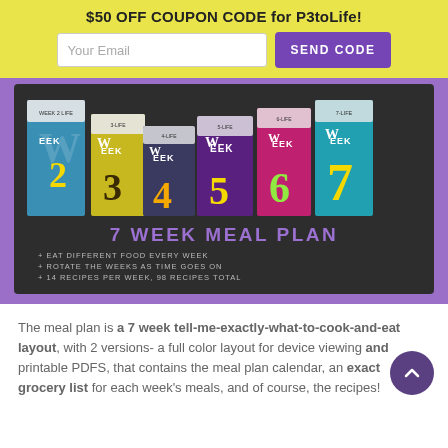$50 OFF COUPON CODE for P3toLife!
Your Email
SEND CODE
[Figure (photo): 7 Week Meal Plan product image showing colorful weekly meal plan booklets (weeks 2-7) fanned out on a dark background, with text '7 WEEK MEAL PLAN + EAT DIFFERENT FOOD EVERY WEEK + ROTATE THE WEEKS AS TIME GOES ON + 14 RECIPES PER WEEK, 98 RECIPES TOTAL']
The meal plan is a 7 week tell-me-exactly-what-to-cook-and-eat layout, with 2 versions- a full color layout for device viewing and printable PDFS, that contains the meal plan calendar, an exact grocery list for each week's meals, and of course, the recipes!